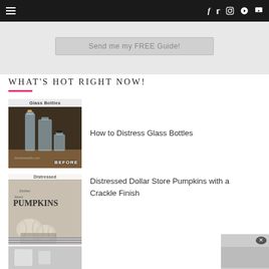≡  f  🐦  Instagram  Pinterest  YouTube
Send me my FREE Guide!
WHAT'S HOT RIGHT NOW!
How to Distress Glass Bottles
Distressed Dollar Store Pumpkins with a Crackle Finish